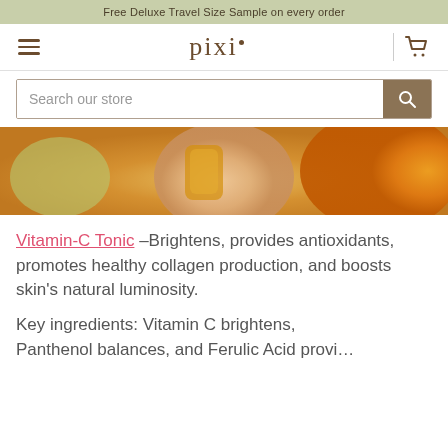Free Deluxe Travel Size Sample on every order
[Figure (logo): Pixi beauty brand logo with hamburger menu and cart icon]
[Figure (screenshot): Search bar input with magnifying glass button]
[Figure (photo): Close-up photo of hand holding a glass bottle with orange/citrus background]
Vitamin-C Tonic –Brightens, provides antioxidants, promotes healthy collagen production, and boosts skin's natural luminosity.
Key ingredients: Vitamin C brightens, Panthenol balances, and Ferulic Acid provides antioxidant protection.